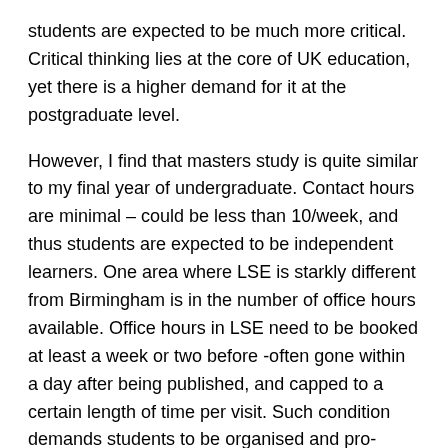students are expected to be much more critical. Critical thinking lies at the core of UK education, yet there is a higher demand for it at the postgraduate level.
However, I find that masters study is quite similar to my final year of undergraduate. Contact hours are minimal – could be less than 10/week, and thus students are expected to be independent learners. One area where LSE is starkly different from Birmingham is in the number of office hours available. Office hours in LSE need to be booked at least a week or two before -often gone within a day after being published, and capped to a certain length of time per visit. Such condition demands students to be organised and pro-active in their study.
More Variation in your Cohort
Studying abroad, wherever you are, will give you exposure to a